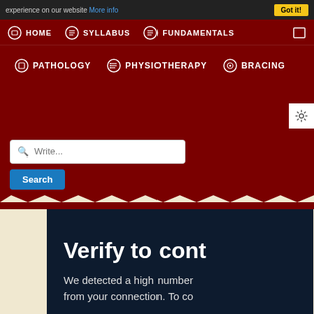experience on our website More info | Got it!
[Figure (screenshot): Website navigation header with dark red background showing menu items: HOME, SYLLABUS, FUNDAMENTALS, PATHOLOGY, PHYSIOTHERAPY, BRACING with circular icons]
Write...
Search
Verify to cont
We detected a high number from your connection. To co